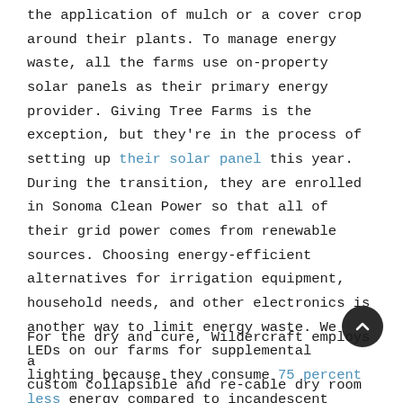the application of mulch or a cover crop around their plants. To manage energy waste, all the farms use on-property solar panels as their primary energy provider. Giving Tree Farms is the exception, but they're in the process of setting up their solar panel this year. During the transition, they are enrolled in Sonoma Clean Power so that all of their grid power comes from renewable sources. Choosing energy-efficient alternatives for irrigation equipment, household needs, and other electronics is another way to limit energy waste. We use LEDs on our farms for supplemental lighting because they consume 75 percent less energy compared to incandescent lighting.
For the dry and cure, Wildercraft employs a custom collapsible and re-cable dry room